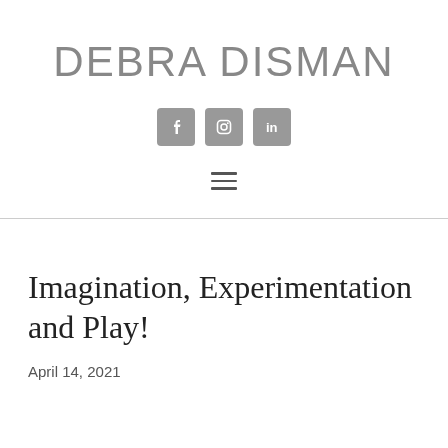DEBRA DISMAN
[Figure (infographic): Three social media icon buttons: Facebook (f), Instagram (camera/circle), LinkedIn (in), each in a rounded square grey background]
[Figure (infographic): Hamburger menu icon with three horizontal lines]
Imagination, Experimentation and Play!
April 14, 2021